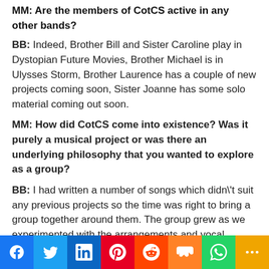MM: Are the members of CotCS active in any other bands?
BB: Indeed, Brother Bill and Sister Caroline play in Dystopian Future Movies, Brother Michael is in Ulysses Storm, Brother Laurence has a couple of new projects coming soon, Sister Joanne has some solo material coming out soon.
MM: How did CotCS come into existence? Was it purely a musical project or was there an underlying philosophy that you wanted to explore as a group?
BB: I had written a number of songs which didn't suit any previous projects so the time was right to bring a group together around them. The group grew as we experimented with the arrangements and vocal harmonies. Eventually it became clear that the number 7 was trying to communicate with us, and we were destined to become the musical conduits of the Cosmic Word.
[Figure (infographic): Social media sharing bar with icons for Facebook, Twitter, LinkedIn, Pinterest, Reddit, Mix, WhatsApp, and More]